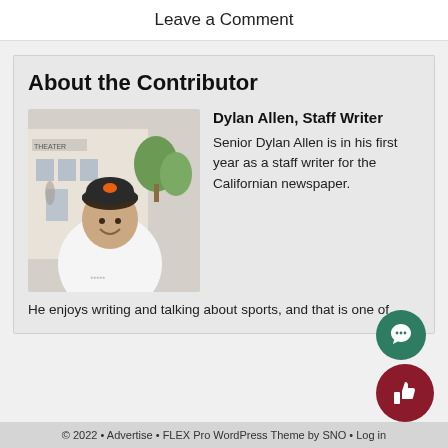Leave a Comment
About the Contributor
[Figure (photo): Photo of Dylan Allen, a young man smiling outdoors in front of a building labeled THEATER, wearing a white long-sleeve shirt and a dark baseball cap with an orange logo.]
Dylan Allen, Staff Writer
Senior Dylan Allen is in his first year as a staff writer for the Californian newspaper. He enjoys writing and talking about sports, and that is one of…
© 2022 • Advertise • FLEX Pro WordPress Theme by SNO • Log in